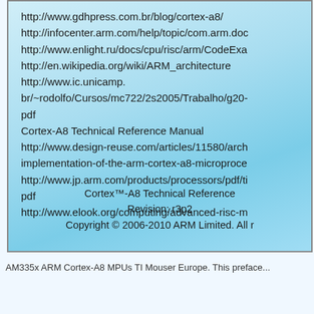http://www.gdhpress.com.br/blog/cortex-a8/
http://infocenter.arm.com/help/topic/com.arm.doc...
http://www.enlight.ru/docs/cpu/risc/arm/CodeExa...
http://en.wikipedia.org/wiki/ARM_architecture
http://www.ic.unicamp.br/~rodolfo/Cursos/mc722/2s2005/Trabalho/g20-pdf
Cortex-A8 Technical Reference Manual
http://www.design-reuse.com/articles/11580/arch-implementation-of-the-arm-cortex-a8-microproce...
http://www.jp.arm.com/products/processors/pdf/ti-pdf
http://www.elook.org/computing/advanced-risc-m...
Cortex™-A8 Technical Reference
Revision: r3p2
Copyright © 2006-2010 ARM Limited. All r...
AM335x ARM Cortex-A8 MPUs TI Mouser Europe. This preface...